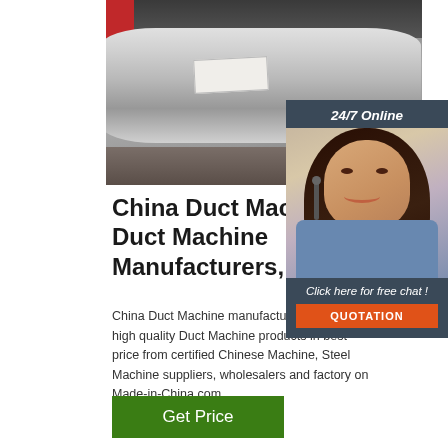[Figure (photo): Industrial workshop photo showing a large cylindrical metal duct on a workbench, with machinery and tools in the background. Workers and industrial equipment visible.]
[Figure (photo): 24/7 Online support panel showing a smiling female customer service representative wearing a headset, with a 'Click here for free chat!' label and an orange QUOTATION button.]
China Duct Machine, Duct Machine Manufacturers,
China Duct Machine manufacturers - Select high quality Duct Machine products in best price from certified Chinese Machine, Steel Machine suppliers, wholesalers and factory on Made-in-China.com
Get Price